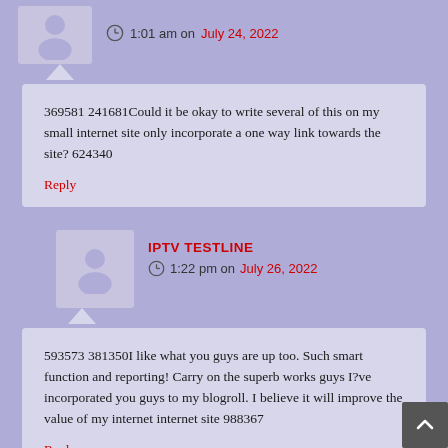1:01 am on July 24, 2022
369581 241681Could it be okay to write several of this on my small internet site only incorporate a one way link towards the site? 624340
Reply
IPTV TESTLINE
1:22 pm on July 26, 2022
593573 381350I like what you guys are up too. Such smart function and reporting! Carry on the superb works guys I?ve incorporated you guys to my blogroll. I believe it will improve the value of my internet internet site 988367
Reply